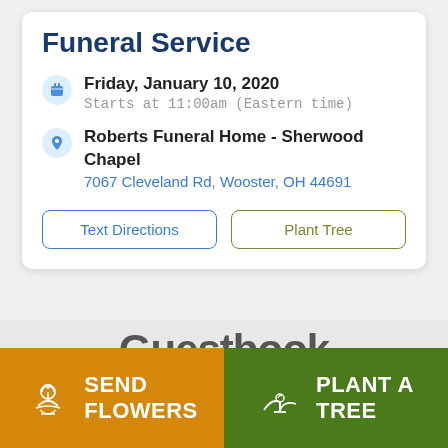Funeral Service
Friday, January 10, 2020
Starts at 11:00am (Eastern time)
Roberts Funeral Home - Sherwood Chapel
7067 Cleveland Rd, Wooster, OH 44691
Text Directions
Plant Tree
Guestbook
SEND FLOWERS
PLANT A TREE